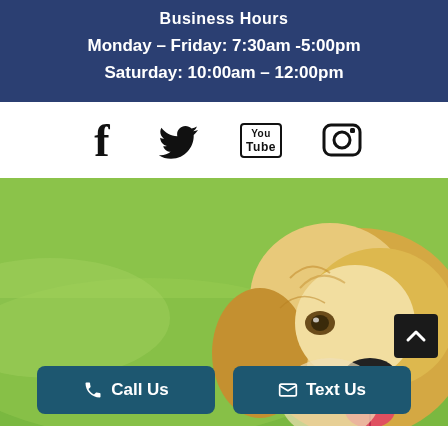Business Hours
Monday – Friday: 7:30am -5:00pm
Saturday: 10:00am – 12:00pm
[Figure (infographic): Social media icons row: Facebook, Twitter, YouTube, Instagram]
[Figure (photo): Happy golden retriever dog smiling, outdoors on green grass background]
Call Us
Text Us